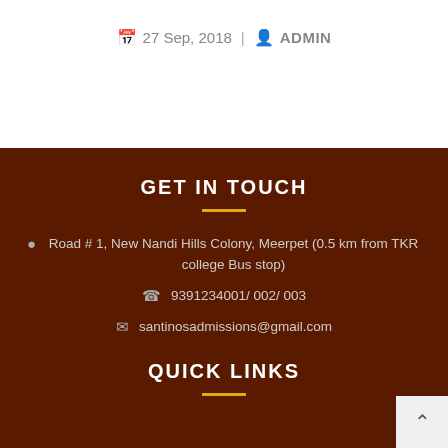27 Sep, 2018 | ADMIN
GET IN TOUCH
Road # 1, New Nandi Hills Colony, Meerpet (0.5 km from TKR college Bus stop)
9391234001/ 002/ 003
santinosadmissions@gmail.com
QUICK LINKS